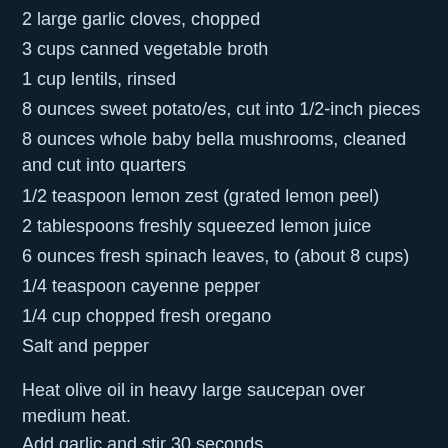2 large garlic cloves, chopped
3 cups canned vegetable broth
1 cup lentils, rinsed
8 ounces sweet potato/es, cut into 1/2-inch pieces
8 ounces whole baby bella mushrooms, cleaned and cut into quarters
1/2 teaspoon lemon zest (grated lemon peel)
2 tablespoons freshly squeezed lemon juice
6 ounces fresh spinach leaves, to (about 8 cups)
1/4 teaspoon cayenne pepper
1/4 cup chopped fresh oregano
Salt and pepper
Heat olive oil in heavy large saucepan over medium heat.
Add garlic and stir 30 seconds